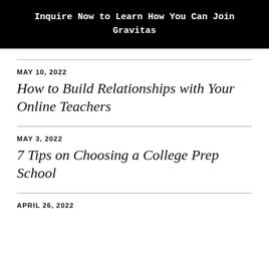Inquire Now to Learn How You Can Join Gravitas
MAY 10, 2022
How to Build Relationships with Your Online Teachers
MAY 3, 2022
7 Tips on Choosing a College Prep School
APRIL 26, 2022